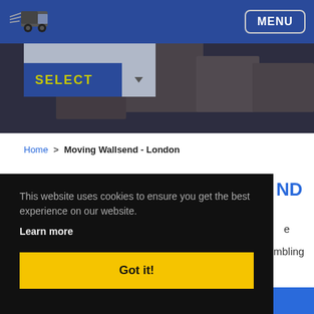[Figure (screenshot): Website hero/header area showing a navigation bar with a delivery truck logo on the left and a MENU button on the right, with a blue background and a partial dropdown/select form element with SELECT label in yellow-green text, overlaid on a dark background showing cardboard boxes]
MENU
SELECT
Home  >  Moving Wallsend - London
This website uses cookies to ensure you get the best experience on our website.
Learn more
Got it!
ND
e
mbling